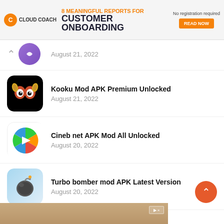[Figure (screenshot): Cloud Coach advertisement banner: '8 MEANINGFUL REPORTS FOR CUSTOMER ONBOARDING - READ NOW']
August 21, 2022
Kooku Mod APK Premium Unlocked
August 21, 2022
Cineb net APK Mod All Unlocked
August 20, 2022
Turbo bomber mod APK Latest Version
August 20, 2022
[Figure (screenshot): Bottom advertisement banner (partial), with X close button]